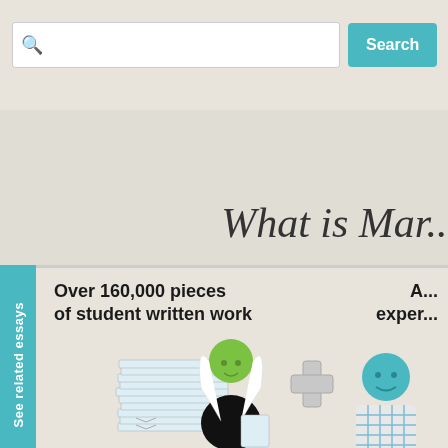[Figure (screenshot): Search bar with magnifying glass icon and teal Search button on a beige background]
What is Mar...
See related essays
Over 160,000 pieces of student written work
A... exper...
[Figure (illustration): Cartoon illustration of a girl with green face carrying a large stack of papers, a plus sign, and a man with teal face wearing a plaid shirt]